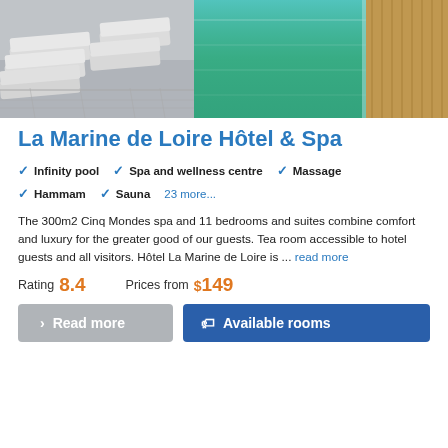[Figure (photo): Hotel spa area: left side shows lounge chairs on stone deck, right side shows infinity pool with green water and wooden deck border]
La Marine de Loire Hôtel & Spa
✓ Infinity pool  ✓ Spa and wellness centre  ✓ Massage
✓ Hammam  ✓ Sauna  23 more...
The 300m2 Cinq Mondes spa and 11 bedrooms and suites combine comfort and luxury for the greater good of our guests. Tea room accessible to hotel guests and all visitors. Hôtel La Marine de Loire is ... read more
Rating  8.4    Prices from  $149
> Read more   Available rooms